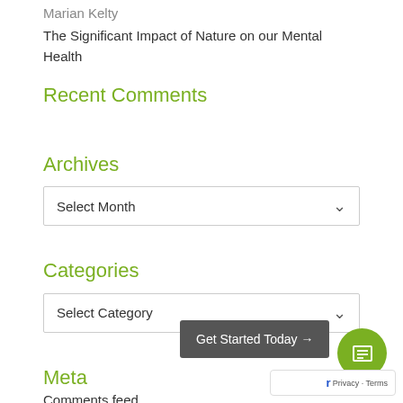Marian Kelty
The Significant Impact of Nature on our Mental Health
Recent Comments
Archives
Select Month
Categories
Select Category
Meta
Log in
Entries feed
Comments feed